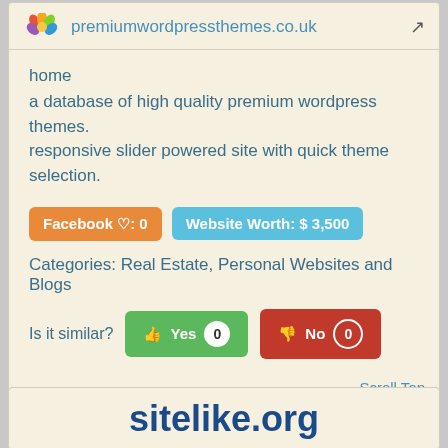premiumwordpressthemes.co.uk
home
a database of high quality premium wordpress themes. responsive slider powered site with quick theme selection.
Facebook ♡: 0   Website Worth: $ 3,500
Categories: Real Estate, Personal Websites and Blogs
Is it similar?  Yes 0  No 0
Scroll Top
sitelike.org